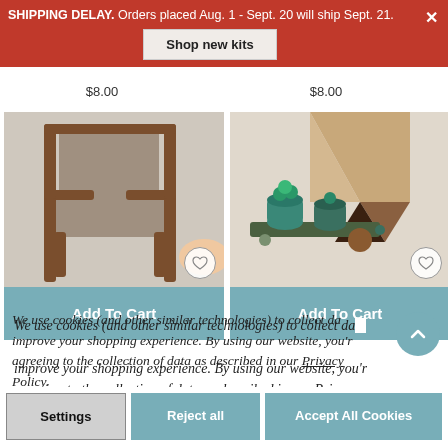SHIPPING DELAY. Orders placed Aug. 1 - Sept. 20 will ship Sept. 21.
[Figure (screenshot): Faded background showing product names 'Fig Tree Kit' and 'Monstera Plant Kit' with prices $8.00 each]
[Figure (photo): Miniature wooden chair product photo with Add To Cart button]
[Figure (photo): Miniature plant/pottery product photo with pencil tip visible, with Add To Cart button]
We use cookies (and other similar technologies) to collect data to improve your shopping experience. By using our website, you're agreeing to the collection of data as described in our Privacy Policy.
Settings
Reject all
Accept All Cookies